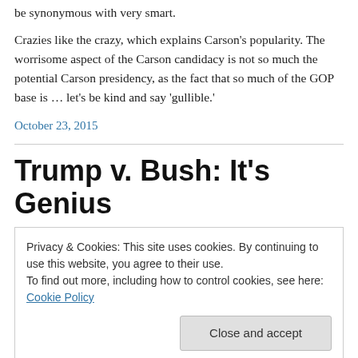be synonymous with very smart.
Crazies like the crazy, which explains Carson’s popularity. The worrisome aspect of the Carson candidacy is not so much the potential Carson presidency, as the fact that so much of the GOP base is … let’s be kind and say ‘gullible.’
October 23, 2015
Trump v. Bush: It’s Genius
Privacy & Cookies: This site uses cookies. By continuing to use this website, you agree to their use.
To find out more, including how to control cookies, see here: Cookie Policy
Close and accept